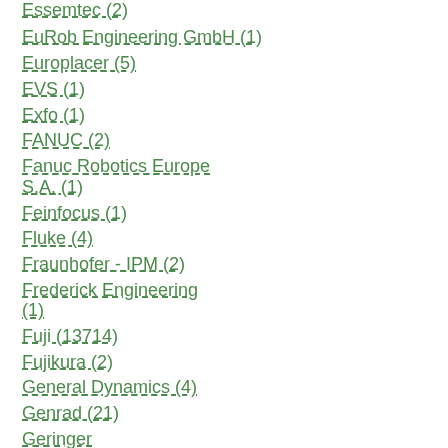Essemtec (2)
EuRob Engineering GmbH (1)
Europlacer (5)
EVS (1)
Exfo (1)
FANUC (2)
Fanuc Robotics Europe S.A. (1)
Feinfocus (1)
Fluke (4)
Fraunhofer - IPM (2)
Frederick Engineering (1)
Fuji (13714)
Fujikura (2)
General Dynamics (4)
Genrad (21)
Geringer